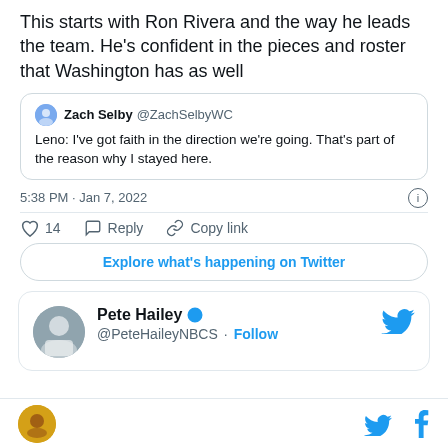This starts with Ron Rivera and the way he leads the team. He's confident in the pieces and roster that Washington has as well
Zach Selby @ZachSelbyWC — Leno: I've got faith in the direction we're going. That's part of the reason why I stayed here.
5:38 PM · Jan 7, 2022
14  Reply  Copy link
Explore what's happening on Twitter
Pete Hailey @PeteHaileyNBCS · Follow